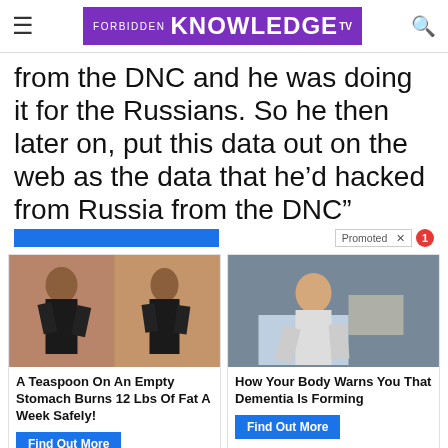FORBIDDEN KNOWLEDGE TV
from the DNC and he was doing it for the Russians. So he then later on, put this data out on the web as the data that he’d hacked from Russia from the DNC”
[Figure (screenshot): Promoted ad widget with blue bar overlay and notification badge]
[Figure (photo): Before and after photos of woman's back showing weight loss]
A Teaspoon On An Empty Stomach Burns 12 Lbs Of Fat A Week Safely!
Find Out More
[Figure (photo): Elderly person sitting hunched on a bed]
How Your Body Warns You That Dementia Is Forming
Find Out More